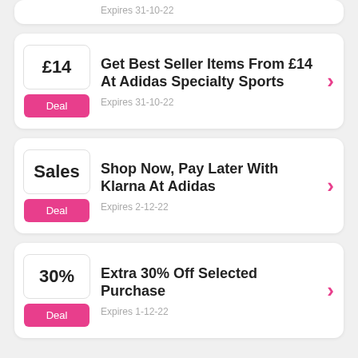Expires 31-10-22
Get Best Seller Items From £14 At Adidas Specialty Sports
Expires 31-10-22
Shop Now, Pay Later With Klarna At Adidas
Expires 2-12-22
Extra 30% Off Selected Purchase
Expires 1-12-22